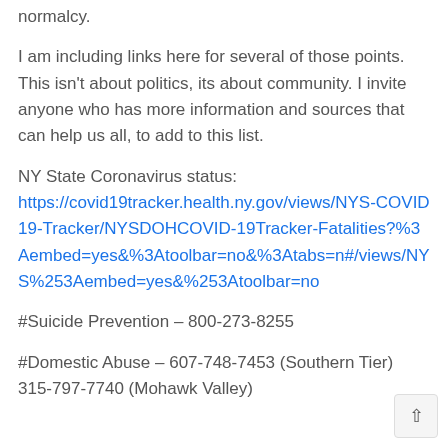normalcy.
I am including links here for several of those points. This isn't about politics, its about community. I invite anyone who has more information and sources that can help us all, to add to this list.
NY State Coronavirus status: https://covid19tracker.health.ny.gov/views/NYS-COVID19-Tracker/NYSDOHCOVID-19Tracker-Fatalities?%3Aembed=yes&%3Atoolbar=no&%3Atabs=n#/views/NYS%253Aembed=yes&%253Atoolbar=no
#Suicide Prevention – 800-273-8255
#Domestic Abuse – 607-748-7453 (Southern Tier) 315-797-7740 (Mohawk Valley)